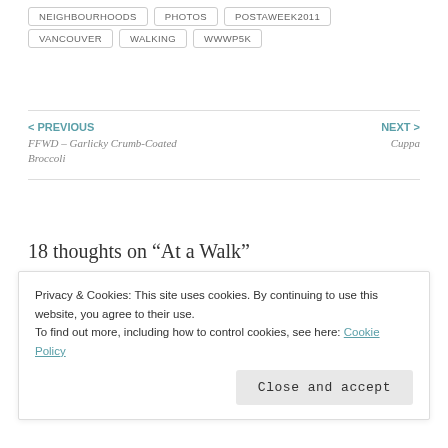NEIGHBOURHOODS
PHOTOS
POSTAWEEK2011
VANCOUVER
WALKING
WWWP5K
< PREVIOUS
FFWD – Garlicky Crumb-Coated Broccoli
NEXT >
Cuppa
18 thoughts on “At a Walk”
hairuprincess
Privacy & Cookies: This site uses cookies. By continuing to use this website, you agree to their use.
To find out more, including how to control cookies, see here: Cookie Policy
Close and accept